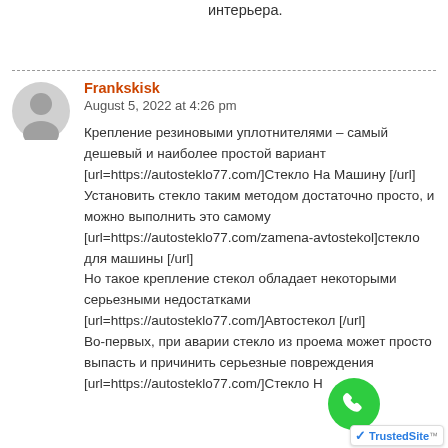интерьера.
Frankskisk
August 5, 2022 at 4:26 pm

Крепление резиновыми уплотнителями – самый дешевый и наиболее простой вариант [url=https://autosteklo77.com/]Стекло На Машину [/url]
Установить стекло таким методом достаточно просто, и можно выполнить это самому [url=https://autosteklo77.com/zamena-avtostekol]стекло для машины [/url]
Но такое крепление стекол обладает некоторыми серьезными недостатками [url=https://autosteklo77.com/]Автостекол [/url]
Во-первых, при аварии стекло из проема может просто выпасть и причинить серьезные повреждения [url=https://autosteklo77.com/]Стекло Н